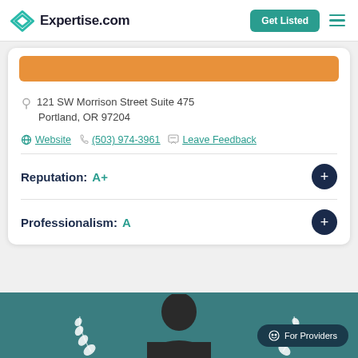Expertise.com
121 SW Morrison Street Suite 475
Portland, OR 97204
Website  (503) 974-3961  Leave Feedback
Reputation: A+
Professionalism: A
[Figure (illustration): Teal section at the bottom with a dark silhouette of a person's head and shoulders, decorative white laurel leaf branches on each side. A 'For Providers' button is shown bottom-right.]